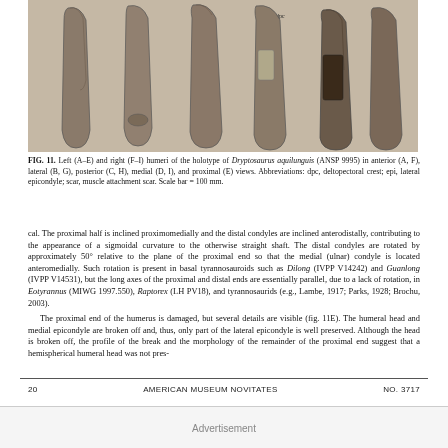[Figure (photo): Photographs of left (A-E) and right (F-I) humeri of the holotype of Dryptosaurus aquilunguis (ANSP 9995) showing anterior, lateral, posterior, medial, and proximal views. Scale bar = 100 mm.]
FIG. 11. Left (A-E) and right (F-I) humeri of the holotype of Dryptosaurus aquilunguis (ANSP 9995) in anterior (A, F), lateral (B, G), posterior (C, H), medial (D, I), and proximal (E) views. Abbreviations: dpc, deltopectoral crest; epi, lateral epicondyle; scar, muscle attachment scar. Scale bar = 100 mm.
cal. The proximal half is inclined proximomedially and the distal condyles are inclined anterodistally, contributing to the appearance of a sigmoidal curvature to the otherwise straight shaft. The distal condyles are rotated by approximately 50° relative to the plane of the proximal end so that the medial (ulnar) condyle is located anteromedially. Such rotation is present in basal tyrannosauroids such as Dilong (IVPP V14242) and Guanlong (IVPP V14531), but the long axes of the proximal and distal ends are essentially parallel, due to a lack of rotation, in Eotyrannus (MIWG 1997.550), Raptorex (LH PV18), and tyrannosaurids (e.g., Lambe, 1917; Parks, 1928; Brochu, 2003). The proximal end of the humerus is damaged, but several details are visible (fig. 11E). The humeral head and medial epicondyle are broken off and, thus, only part of the lateral epicondyle is well preserved. Although the head is broken off, the profile of the break and the morphology of the remainder of the proximal end suggest that a hemispherical humeral head was not pres-
20                    AMERICAN MUSEUM NOVITATES                    NO. 3717